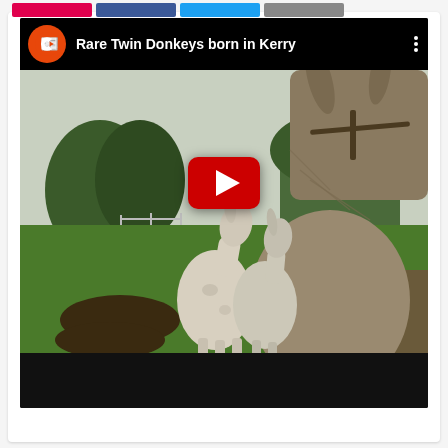[Figure (screenshot): YouTube video embed showing 'Rare Twin Donkeys born in Kerry'. The video thumbnail shows two white baby donkeys in a green field with a grey adult donkey close to camera. An orange circular channel logo is shown top-left in the video header bar with a white stylized C/arrow icon. The video title reads 'Rare Twin Donkeys born in Kerry' in white text on a dark background. A red YouTube play button is centered on the thumbnail. Below the thumbnail is a black video player bar. Above the video embed are four social sharing buttons (red, dark blue, light blue, grey).]